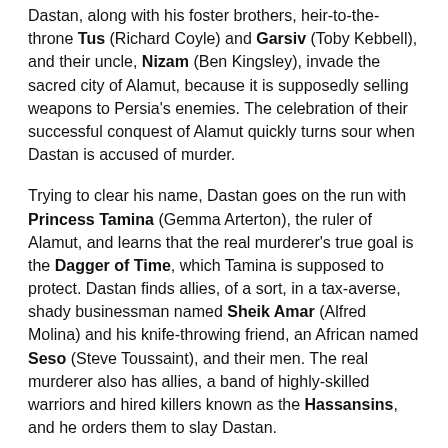Dastan, along with his foster brothers, heir-to-the-throne Tus (Richard Coyle) and Garsiv (Toby Kebbell), and their uncle, Nizam (Ben Kingsley), invade the sacred city of Alamut, because it is supposedly selling weapons to Persia's enemies. The celebration of their successful conquest of Alamut quickly turns sour when Dastan is accused of murder.
Trying to clear his name, Dastan goes on the run with Princess Tamina (Gemma Arterton), the ruler of Alamut, and learns that the real murderer's true goal is the Dagger of Time, which Tamina is supposed to protect. Dastan finds allies, of a sort, in a tax-averse, shady businessman named Sheik Amar (Alfred Molina) and his knife-throwing friend, an African named Seso (Steve Toussaint), and their men. The real murderer also has allies, a band of highly-skilled warriors and hired killers known as the Hassansins, and he orders them to slay Dastan.
Although I initially planned to see Prince of Persia: The Sands of Time, I decided to avoid it because all the movie trailers for it made the movie look like an empty CGI-